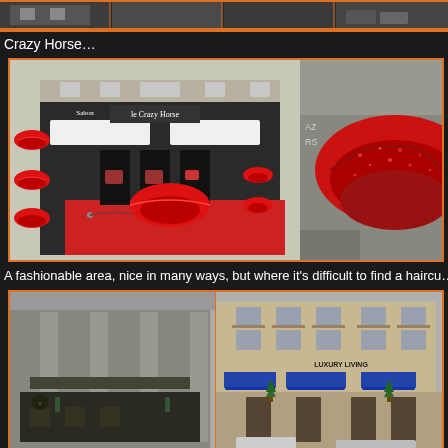[Figure (photo): Top strip of photos showing street scenes, possibly Parisian streets with cars]
Crazy Horse…
[Figure (photo): Two photos of the Crazy Horse cabaret in Paris. Left photo shows the exterior with red decorative lips sculptures on the facade and red carpet entrance. Right photo shows a close-up of one of the large red sparkly lips decorations.]
A fashionable area, nice in many ways, but where it's difficult to find a haircu…
[Figure (photo): Two photos of fashionable area buildings. Left photo shows a modern building exterior with cafe/restaurant. Right photo shows a Haussmann-style Parisian building with blue awnings and 'Luxury Living' signage.]